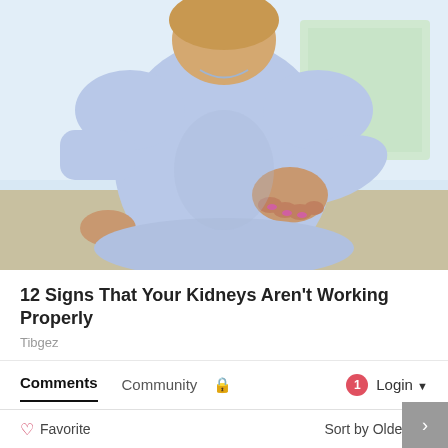[Figure (photo): Woman in light blue top sitting with hands pressing on lower back, viewed from behind, suggesting kidney or back pain.]
12 Signs That Your Kidneys Aren't Working Properly
Tibgez
Comments  Community  🔒  1  Login ▾
♡ Favorite  Sort by Oldest ▾